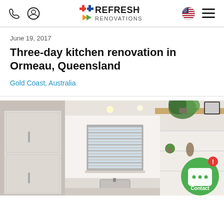Refresh Renovations - navigation bar with phone icon, user icon, logo, US flag, hamburger menu
June 19, 2017
Three-day kitchen renovation in Ormeau, Queensland
Gold Coast, Australia
[Figure (photo): Interior photo of a modern white kitchen renovation showing white cabinetry, recessed lighting, window with blinds, open wooden shelf with a hanging plant, and decorative items. A green Contact button with chat icon overlay is visible in the bottom right corner.]